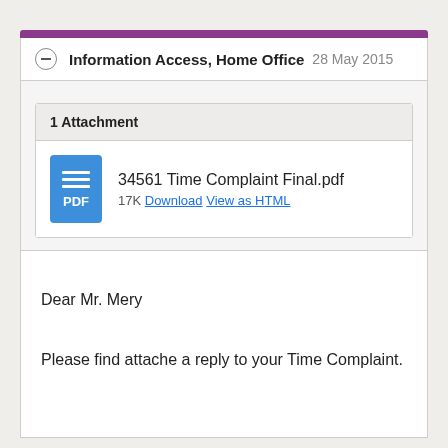Information Access, Home Office   28 May 2015
1 Attachment
34561 Time Complaint Final.pdf
17K Download View as HTML
Dear Mr. Mery
Please find attache a reply to your Time Complaint.